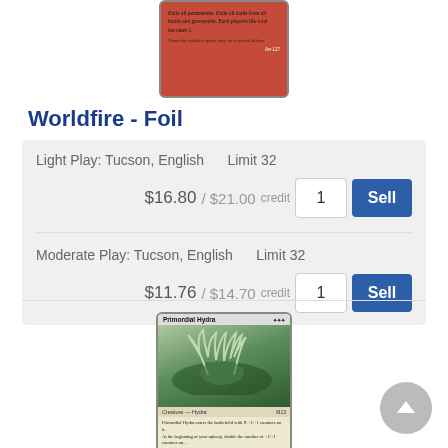[Figure (illustration): Trading card: Worldfire, red card with text about exiling permanents and setting life totals to 1. Flavor text: 'From the smallest spark may set a world ablaze.']
Worldfire - Foil
| Light Play: Tucson, English | Limit 32 | $16.80 / $21.00 credit | 1 | Sell |
| Moderate Play: Tucson, English | Limit 32 | $11.76 / $14.70 credit | 1 | Sell |
[Figure (illustration): Trading card: Primordial Hydra, green creature card showing a large hydra. Text: Primordial Hydra enters the battlefield with X +1/+1 counters on it. At the beginning of your upkeep, double the number of +1/+1 counters on...]